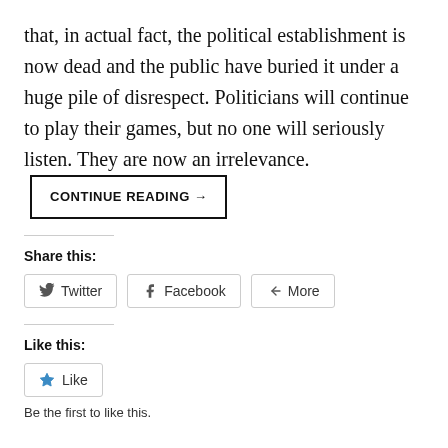that, in actual fact, the political establishment is now dead and the public have buried it under a huge pile of disrespect. Politicians will continue to play their games, but no one will seriously listen. They are now an irrelevance.  CONTINUE READING →
Share this:
Twitter  Facebook  More
Like this:
Like
Be the first to like this.